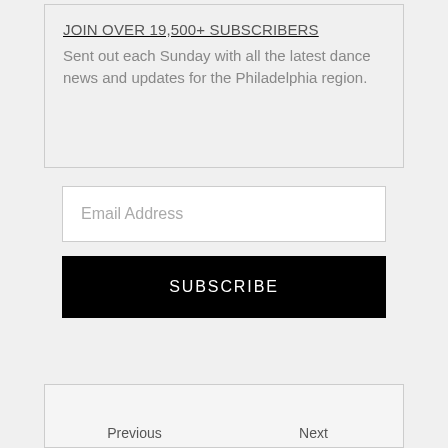JOIN OVER 19,500+ SUBSCRIBERS
Sent out each Sunday with all the latest dance news and updates for the Philadelphia region.
Email Address
SUBSCRIBE
Previous
Next